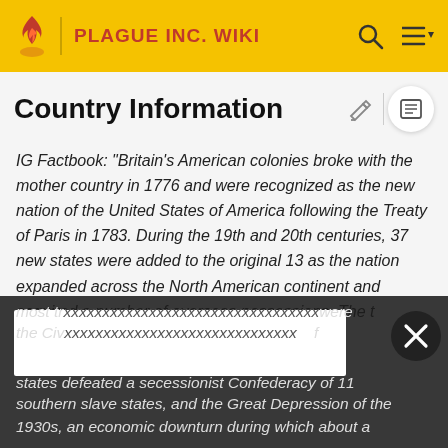PLAGUE INC. WIKI
Country Information
IG Factbook: "Britain's American colonies broke with the mother country in 1776 and were recognized as the new nation of the United States of America following the Treaty of Paris in 1783. During the 19th and 20th centuries, 37 new states were added to the original 13 as the nation expanded across the North American continent and acquired a number of overseas possessions. The two most traumatic experiences in the nation's history were the Civil War (1861-65), in which a northern Union of states defeated a secessionist Confederacy of 11 southern slave states, and the Great Depression of the 1930s, an economic downturn during which about a